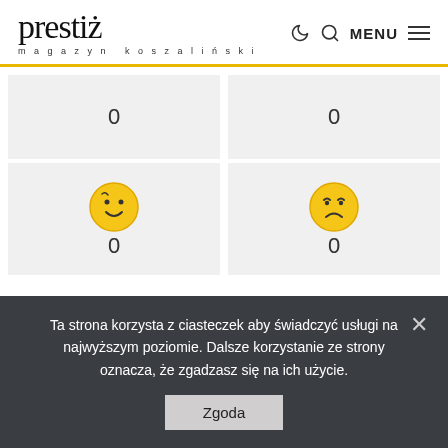[Figure (logo): Prestiż magazyn koszaliński logo with navigation icons and MENU text]
| 0 | 0 |
| 0 (happy emoji) | 0 (sad emoji) |
Ta strona korzysta z ciasteczek aby świadczyć usługi na najwyższym poziomie. Dalsze korzystanie ze strony oznacza, że zgadzasz się na ich użycie.
Zgoda